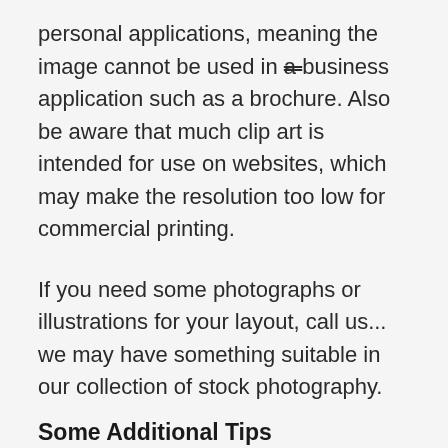personal applications, meaning the image cannot be used in a business application such as a brochure. Also be aware that much clip art is intended for use on websites, which may make the resolution too low for commercial printing.
If you need some photographs or illustrations for your layout, call us... we may have something suitable in our collection of stock photography.
Some Additional Tips
Other tips for creating good design include: